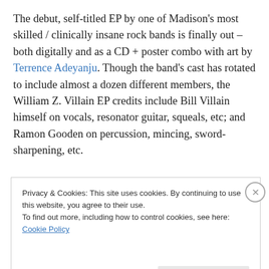The debut, self-titled EP by one of Madison's most skilled / clinically insane rock bands is finally out – both digitally and as a CD + poster combo with art by Terrence Adeyanju. Though the band's cast has rotated to include almost a dozen different members, the William Z. Villain EP credits include Bill Villain himself on vocals, resonator guitar, squeals, etc; and Ramon Gooden on percussion, mincing, sword-sharpening, etc.
Privacy & Cookies: This site uses cookies. By continuing to use this website, you agree to their use.
To find out more, including how to control cookies, see here: Cookie Policy